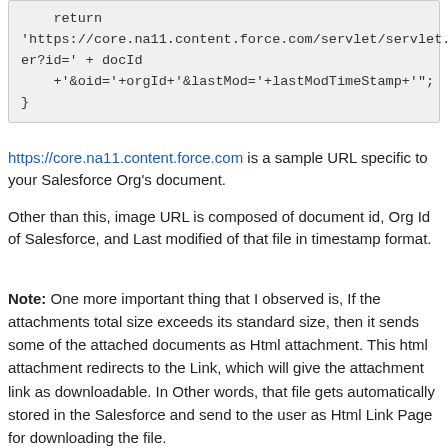return
'https://core.na11.content.force.com/servlet/servlet.ImageServer?id=' + docId
+'&oid='+orgId+'&lastMod='+lastModTimeStamp+'";
}
https://core.na11.content.force.com is a sample URL specific to your Salesforce Org's document.
Other than this, image URL is composed of document id, Org Id of Salesforce, and Last modified of that file in timestamp format.
Note: One more important thing that I observed is, If the attachments total size exceeds its standard size, then it sends some of the attached documents as Html attachment. This html attachment redirects to the Link, which will give the attachment link as downloadable. In Other words, that file gets automatically stored in the Salesforce and send to the user as Html Link Page for downloading the file.